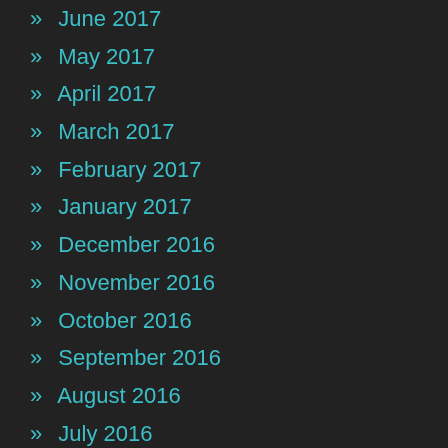» June 2017
» May 2017
» April 2017
» March 2017
» February 2017
» January 2017
» December 2016
» November 2016
» October 2016
» September 2016
» August 2016
» July 2016
» June 2016
» May 2016
» April 2016